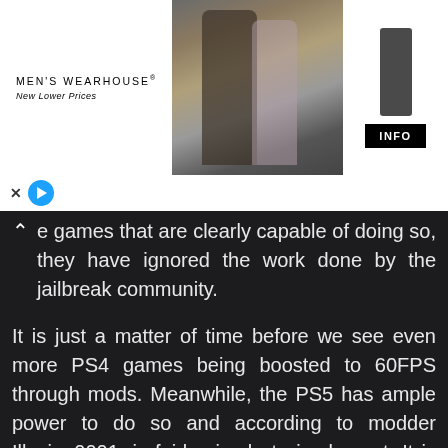[Figure (photo): Men's Wearhouse advertisement banner showing a couple in formal wear and a man in a suit, with INFO button on the right]
games that are clearly capable of doing so, they have ignored the work done by the jailbreak community.

It is just a matter of time before we see even more PS4 games being boosted to 60FPS through mods. Meanwhile, the PS5 has ample power to do so and according to modder Illusion0001, is fairly simple to implement. It is up to Sony now.....